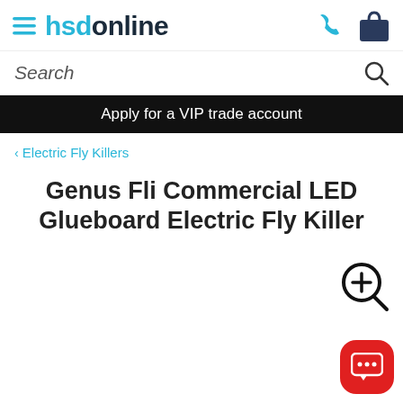hsdonline
Search
Apply for a VIP trade account
< Electric Fly Killers
Genus Fli Commercial LED Glueboard Electric Fly Killer
[Figure (screenshot): Product image area with zoom icon and chat button overlay]